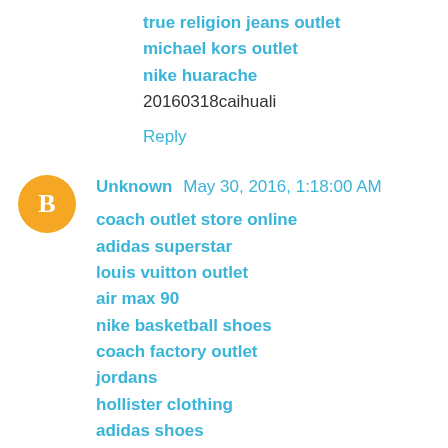true religion jeans outlet
michael kors outlet
nike huarache
20160318caihuali
Reply
[Figure (other): Blogger avatar icon - orange circle with white B letter]
Unknown  May 30, 2016, 1:18:00 AM
coach outlet store online
adidas superstar
louis vuitton outlet
air max 90
nike basketball shoes
coach factory outlet
jordans
hollister clothing
adidas shoes
nike running shoes
adidas outlet store
michael kors outlet online
coach outlet store online clearances